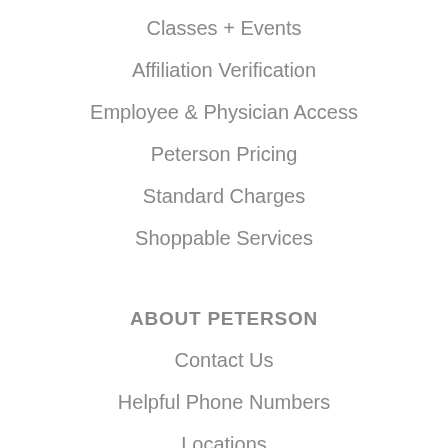Classes + Events
Affiliation Verification
Employee & Physician Access
Peterson Pricing
Standard Charges
Shoppable Services
ABOUT PETERSON
Contact Us
Helpful Phone Numbers
Locations
Foundation